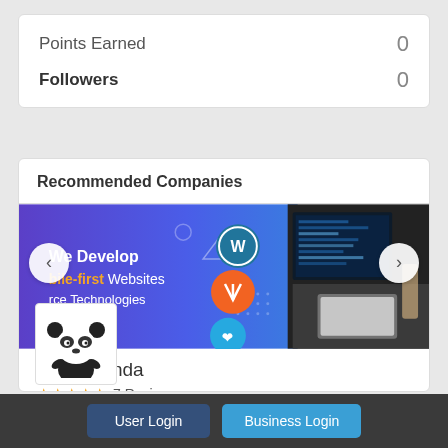Points Earned   0
Followers   0
Recommended Companies
[Figure (photo): Banner image for HTMLPanda showing purple/blue background with text 'We Develop Mobile-first Websites & eCommerce Technologies', WordPress and Magento icons, and a photo of a person using a tablet/computer on the right side.]
HTMLPanda
★★★★★ 7 Reviews
📍 1 Lincoln St Boston, MA 02111, United States
User Login
Business Login